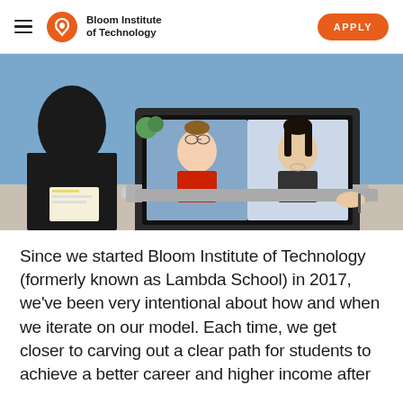Bloom Institute of Technology | APPLY
[Figure (photo): Person sitting at a desk using a laptop showing a video call with two participants — a man in a red hoodie and a woman with dark hair — with a blue background and notebook visible.]
Since we started Bloom Institute of Technology (formerly known as Lambda School) in 2017, we've been very intentional about how and when we iterate on our model. Each time, we get closer to carving out a clear path for students to achieve a better career and higher income after